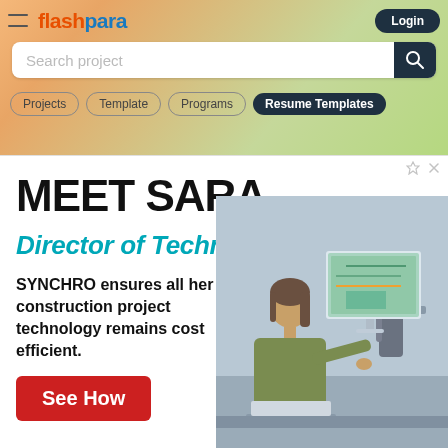flashpara — Search project — Projects | Template | Programs | Resume Templates | Login
[Figure (screenshot): Flashpara website navigation bar with logo, search bar, category pills (Projects, Template, Programs, Resume Templates), and Login button on gradient orange-green background]
[Figure (infographic): Advertisement banner: MEET SARA Director of Technology. SYNCHRO ensures all her construction project technology remains cost efficient. See How button. Photo of woman working at computer with construction software on screen.]